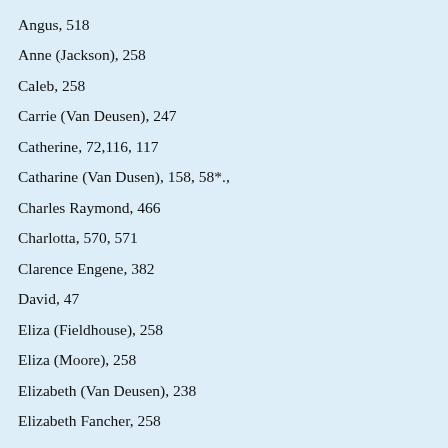Angus, 518
Anne (Jackson), 258
Caleb, 258
Carrie (Van Deusen), 247
Catherine, 72,116, 117
Catharine (Van Dusen), 158, 58*.,
Charles Raymond, 466
Charlotta, 570, 571
Clarence Engene, 382
David, 47
Eliza (Fieldhouse), 258
Eliza (Moore), 258
Elizabeth (Van Deusen), 238
Elizabeth Fancher, 258